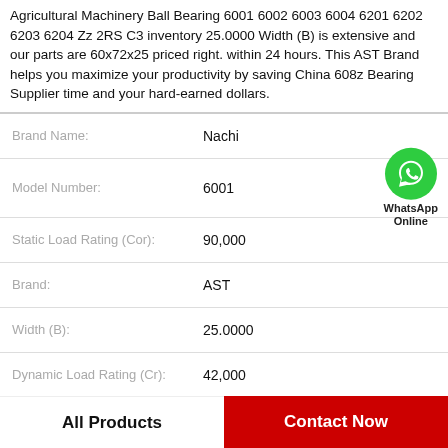Agricultural Machinery Ball Bearing 6001 6002 6003 6004 6201 6202 6203 6204 Zz 2RS C3 inventory 25.0000 Width (B) is extensive and our parts are 60x72x25 priced right. within 24 hours. This AST Brand helps you maximize your productivity by saving China 608z Bearing Supplier time and your hard-earned dollars.
| Field | Value |
| --- | --- |
| Brand Name: | Nachi |
| Model Number: | 6001 |
| Static Load Rating (Cor): | 90,000 |
| Brand: | AST |
| Width (B): | 25.0000 |
| Dynamic Load Rating (Cr): | 42,000 |
| Width (mm): | 25 |
[Figure (logo): WhatsApp Online green circle icon with phone handset, labeled WhatsApp Online]
All Products   Contact Now